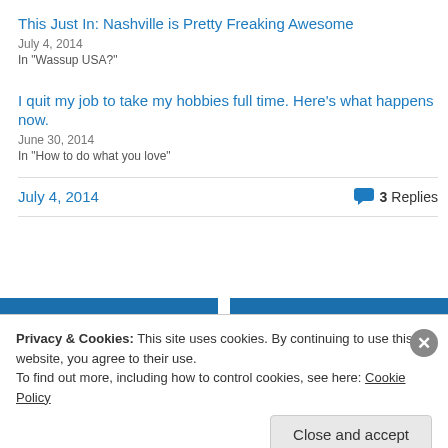This Just In: Nashville is Pretty Freaking Awesome
July 4, 2014
In "Wassup USA?"
I quit my job to take my hobbies full time. Here’s what happens now.
June 30, 2014
In "How to do what you love"
July 4, 2014
3 Replies
Previous
Next
Privacy & Cookies: This site uses cookies. By continuing to use this website, you agree to their use.
To find out more, including how to control cookies, see here: Cookie Policy
Close and accept